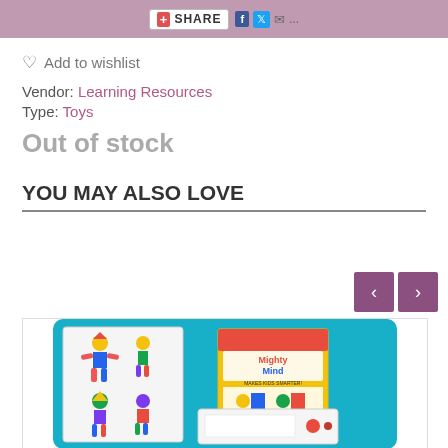SHARE
♡ Add to wishlist
Vendor: Learning Resources
Type: Toys
Out of stock
YOU MAY ALSO LOVE
[Figure (photo): Mighty Mind educational toy product photo showing puzzle pieces with colorful geometric shapes arranged as figures, alongside the Mighty Mind product box on a teal background]